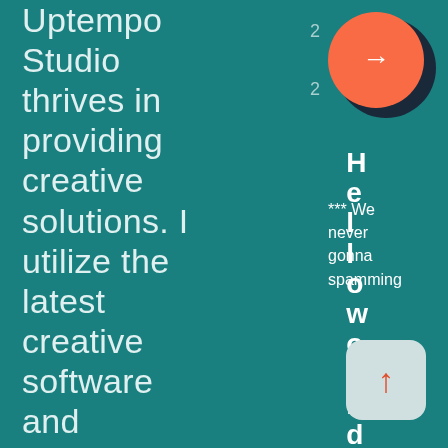Uptempo Studio thrives in providing creative solutions. I utilize the latest creative software and techniques, to achieve a unique, professional
[Figure (illustration): Orange circle button with white right arrow, with dark shadow arc behind it, positioned top-right]
2
2
H
e*** We
l  never
l  gonna
o  spamming
w
o
r
l
d
!
[Figure (illustration): Gray rounded square button with red upward arrow, positioned bottom-right]